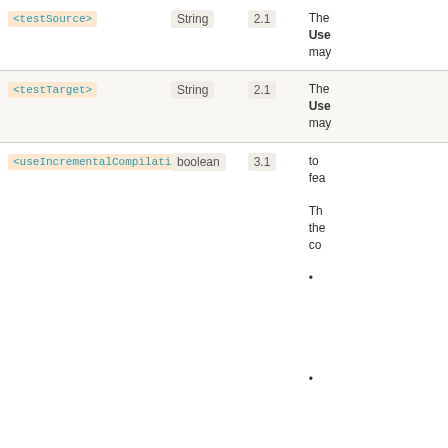| Name | Type | Since | Description |
| --- | --- | --- | --- |
| <testSource> | String | 2.1 | The... Use... may... |
| <testTarget> | String | 2.1 | The... Use... may... |
| <useIncrementalCompilation> | boolean | 3.1 | to... fea...

Th... the... co...

•

• |